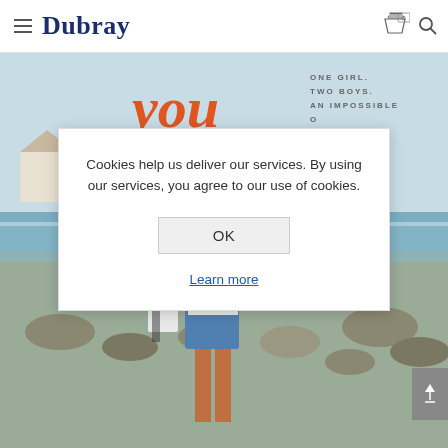[Figure (screenshot): Dubray Books website header with hamburger menu icon, Dubray logo in navy serif font, shopping cart icon with badge showing 0, and search icon]
[Figure (screenshot): Background showing a book cover with orange italic cursive text 'you' and text 'ONE GIRL. TWO BOYS. AN IMPOSSIBLE' on the right, with a beach background scene showing a girl in denim shorts holding a bag among rocks near the sea]
Cookies help us deliver our services. By using our services, you agree to our use of cookies.
OK
Learn more